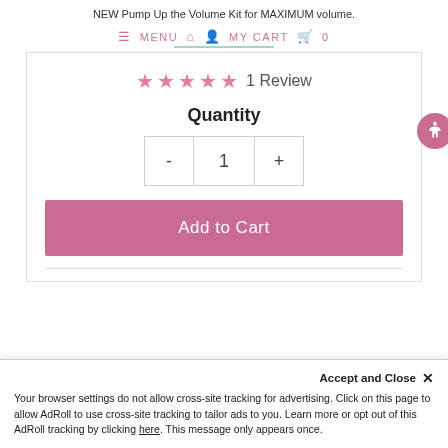NEW Pump Up the Volume Kit for MAXIMUM volume.
≡ MENU  🏠  👤  MY CART  🛒  0
★★★★★ 1 Review
Quantity
- 1 +
Add to Cart
Accept and Close ✕
Your browser settings do not allow cross-site tracking for advertising. Click on this page to allow AdRoll to use cross-site tracking to tailor ads to you. Learn more or opt out of this AdRoll tracking by clicking here. This message only appears once.